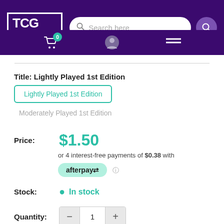[Figure (logo): TCG CULTURE logo in white on dark purple background with search bar and navigation icons]
Title: Lightly Played 1st Edition
Lightly Played 1st Edition
Moderately Played 1st Edition
Price: $1.50
or 4 interest-free payments of $0.38 with afterpay
Stock: In stock
Quantity: 1